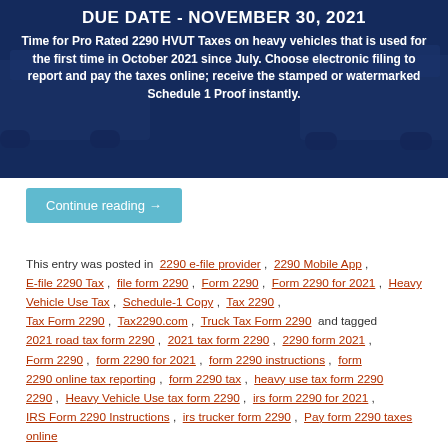[Figure (photo): Dark blue banner with trucks in background showing tax due date announcement]
DUE DATE - NOVEMBER 30, 2021
Time for Pro Rated 2290 HVUT Taxes on heavy vehicles that is used for the first time in October 2021 since July. Choose electronic filing to report and pay the taxes online; receive the stamped or watermarked Schedule 1 Proof instantly.
Continue reading →
This entry was posted in 2290 e-file provider , 2290 Mobile App , E-file 2290 Tax , file form 2290 , Form 2290 , Form 2290 for 2021 , Heavy Vehicle Use Tax , Schedule-1 Copy , Tax 2290 , Tax Form 2290 , Tax2290.com , Truck Tax Form 2290 and tagged 2021 road tax form 2290 , 2021 tax form 2290 , 2290 form 2021 , Form 2290 , form 2290 for 2021 , form 2290 instructions , form 2290 online tax reporting , form 2290 tax , heavy use tax form 2290 , Heavy Vehicle Use tax form 2290 , irs form 2290 for 2021 , IRS Form 2290 Instructions , irs trucker form 2290 , Pay form 2290 taxes online , Truck Tax Form 2290 on November 16, 2021